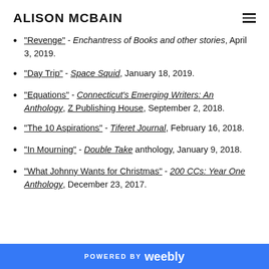ALISON MCBAIN
"Revenge" - Enchantress of Books and other stories, April 3, 2019.
"Day Trip" - Space Squid, January 18, 2019.
"Equations" - Connecticut's Emerging Writers: An Anthology, Z Publishing House, September 2, 2018.
"The 10 Aspirations" - Tiferet Journal, February 16, 2018.
"In Mourning" - Double Take anthology, January 9, 2018.
"What Johnny Wants for Christmas" - 200 CCs: Year One Anthology, December 23, 2017.
POWERED BY weebly